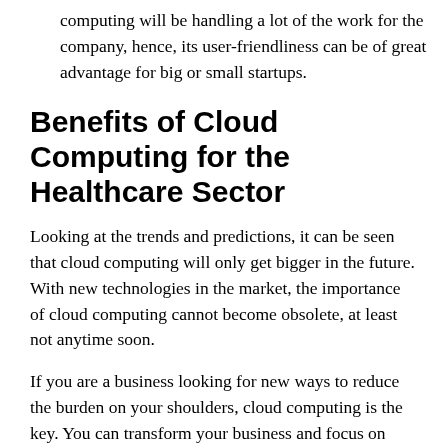computing will be handling a lot of the work for the company, hence, its user-friendliness can be of great advantage for big or small startups.
Benefits of Cloud Computing for the Healthcare Sector
Looking at the trends and predictions, it can be seen that cloud computing will only get bigger in the future. With new technologies in the market, the importance of cloud computing cannot become obsolete, at least not anytime soon.
If you are a business looking for new ways to reduce the burden on your shoulders, cloud computing is the key. You can transform your business and focus on more vital areas for your business growth once the real problem is addressed.